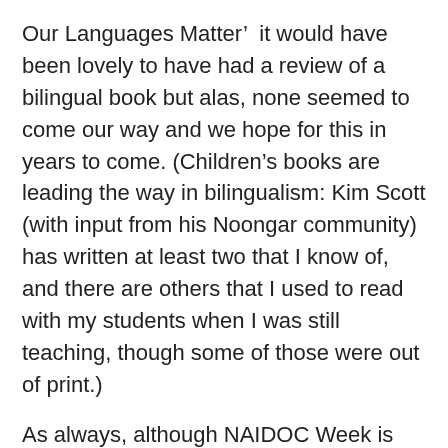Our Languages Matter'  it would have been lovely to have had a review of a bilingual book but alas, none seemed to come our way and we hope for this in years to come. (Children's books are leading the way in bilingualism: Kim Scott (with input from his Noongar community) has written at least two that I know of, and there are others that I used to read with my students when I was still teaching, though some of those were out of print.)
As always, although NAIDOC Week is over, reviews of Indigenous books are welcome any time.  I will monitor the Reviews page for any additional 2017 contributions until the end of July, and readers can also add them any time through comments on the ANZ LitLovers Indigenous Reading List .
Publishers are always welcome with news of new titles!